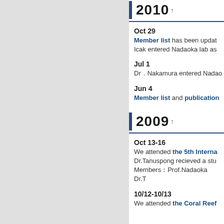2010 ↑
Oct 29
Member list has been updated. Icak entered Nadaoka lab as
Jul 1
Dr.Nakamura entered Nadao
Jun 4
Member list and publication
2009 ↑
Oct 13-16
We attended the 5th Interna Dr.Tanuspong recieved a stu Members Prof.Nadaoka Dr.T
10/12-10/13
We attended the Coral Reef